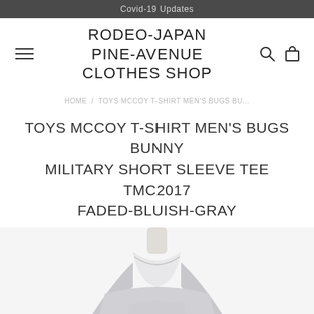Covid-19 Updates
RODEO-JAPAN PINE-AVENUE CLOTHES SHOP
HOME > TOYS MCCOY T-SHIRT MEN'S BUGS BU...
TOYS MCCOY T-SHIRT MEN'S BUGS BUNNY MILITARY SHORT SLEEVE TEE TMC2017 FADED-BLUISH-GRAY
[Figure (photo): A light gray/bluish-gray short sleeve t-shirt displayed on a mannequin, cropped showing neck and upper torso area.]